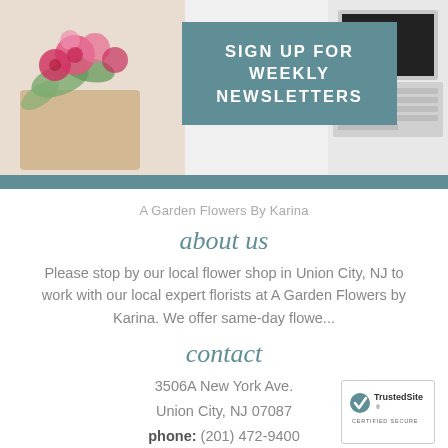[Figure (illustration): Banner with flowers bouquet on left, laptop on right, and a teal rectangle in the center with 'SIGN UP FOR WEEKLY NEWSLETTERS' in white uppercase text. A teal horizontal bar spans the bottom of the banner.]
A Garden Flowers By Karina
about us
Please stop by our local flower shop in Union City, NJ to work with our local expert florists at A Garden Flowers by Karina. We offer same-day flowe...
contact
3506A New York Ave.
Union City, NJ 07087
phone: (201) 472-9400
fax: (201) 472-9399
[Figure (logo): TrustedSite Certified Secure badge with checkmark in teal]